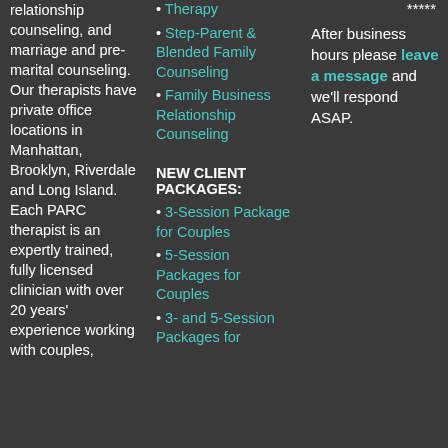relationship counseling, and marriage and pre-marital counseling. Our therapists have private office locations in Manhattan, Brooklyn, Riverdale and Long Island. Each PARC therapist is an expertly trained, fully licensed clinician with over 20 years' experience working with couples,
Therapy
Step-Parent & Blended Family Counseling
Family Business Relationship Counseling
NEW CLIENT PACKAGES:
3-Session Package for Couples
5-Session Packages for Couples
3- and 5-Session Packages for
*****
After business hours please leave a message and we'll respond ASAP.